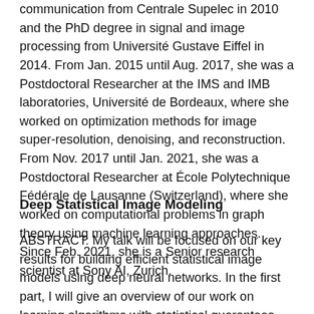communication from Centrale Supelec in 2010 and the PhD degree in signal and image processing from Université Gustave Eiffel in 2014. From Jan. 2015 until Aug. 2017, she was a Postdoctoral Researcher at the IMS and IMB laboratories, Université de Bordeaux, where she worked on optimization methods for image super-resolution, denoising, and reconstruction. From Nov. 2017 until Jan. 2021, she was a Postdoctoral Researcher at École Polytechnique Fédérale de Lausanne (Switzerland), where she worked on computational problems in graph theory using machine learning approaches. Since Feb. 2021, she is a Senior research scientist at Sony AI, Zurich.
Deep Statistical Image Modeling
ABSTRACT: My talk will be focused on our key results for building efficient statistical image models using deep neural networks. In the first part, I will give an overview of our work on learning algorithms with statistical guarantees and